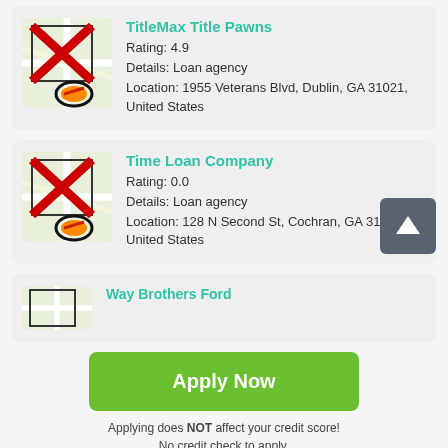TitleMax Title Pawns
Rating: 4.9
Details: Loan agency
Location: 1955 Veterans Blvd, Dublin, GA 31021, United States
[Figure (screenshot): Map thumbnail with red X overlay and location pin icon, for TitleMax Title Pawns]
Time Loan Company
Rating: 0.0
Details: Loan agency
Location: 128 N Second St, Cochran, GA 31014, United States
[Figure (screenshot): Map thumbnail with red X overlay and location pin icon, for Time Loan Company]
Way Brothers Ford
[Figure (screenshot): Map thumbnail partially visible for Way Brothers Ford]
Apply Now
Applying does NOT affect your credit score!
No credit check to apply.